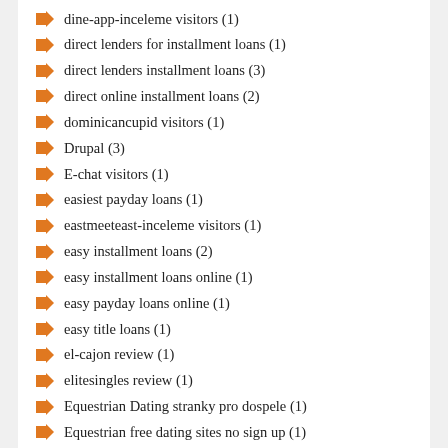dine-app-inceleme visitors (1)
direct lenders for installment loans (1)
direct lenders installment loans (3)
direct online installment loans (2)
dominicancupid visitors (1)
Drupal (3)
E-chat visitors (1)
easiest payday loans (1)
eastmeeteast-inceleme visitors (1)
easy installment loans (2)
easy installment loans online (1)
easy payday loans online (1)
easy title loans (1)
el-cajon review (1)
elitesingles review (1)
Equestrian Dating stranky pro dospele (1)
Equestrian free dating sites no sign up (1)
EquestrianSingles visitors (1)
Eris visitors (1)